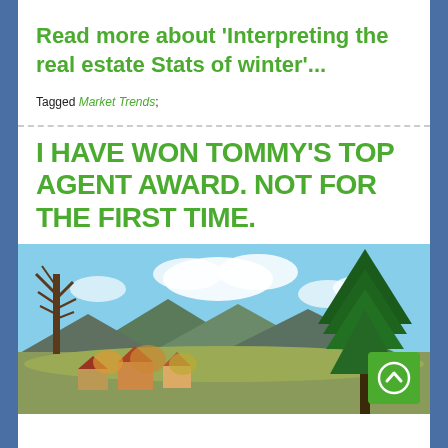Read more about 'Interpreting the real estate Stats of winter'...
Tagged Market Trends;
I HAVE WON TOMMY'S TOP AGENT AWARD. NOT FOR THE FIRST TIME.
[Figure (photo): Outdoor landscape photo showing mountains, trees (bare deciduous tree on left, large evergreen conifer on right), blue sky with clouds, and buildings/houses in the foreground valley.]